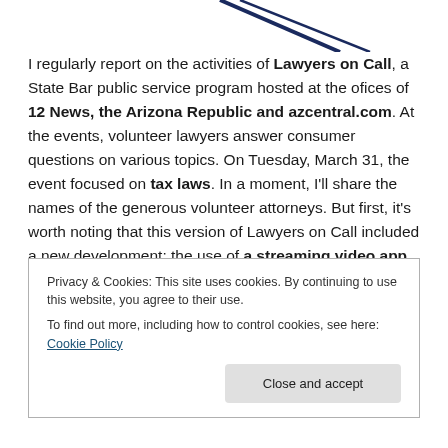[Figure (other): Partial logo/graphic with dark diagonal lines at top of page]
I regularly report on the activities of Lawyers on Call, a State Bar public service program hosted at the ofices of 12 News, the Arizona Republic and azcentral.com. At the events, volunteer lawyers answer consumer questions on various topics. On Tuesday, March 31, the event focused on tax laws. In a moment, I'll share the names of the generous volunteer attorneys. But first, it's worth noting that this version of Lawyers on Call included a new development: the use of a streaming video app,
Privacy & Cookies: This site uses cookies. By continuing to use this website, you agree to their use.
To find out more, including how to control cookies, see here: Cookie Policy
Close and accept